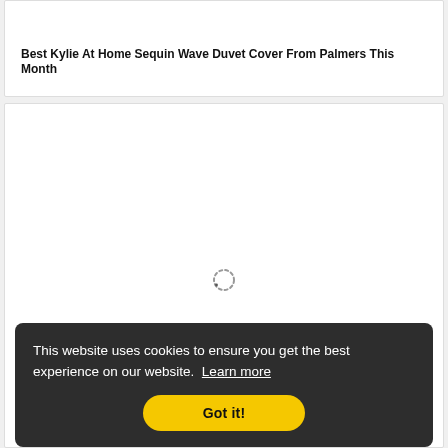Best Kylie At Home Sequin Wave Duvet Cover From Palmers This Month
[Figure (other): Loading spinner (dashed circle) indicating content is loading in a white card area]
This website uses cookies to ensure you get the best experience on our website.  Learn more
Got it!